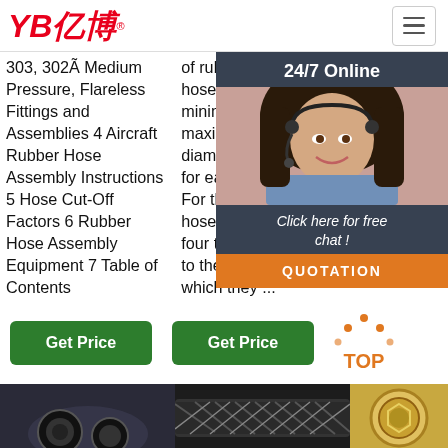YB亿博
303, 302Ã Medium Pressure, Flareless Fittings and Assemblies 4 Aircraft Rubber Hose Assembly Instructions 5 Hose Cut-Off Factors 6 Rubber Hose Assembly Equipment 7 Table of Contents
of rubber and plastics hoses and the minimum and maximum inside diameters permitted for each hose size. For this purpose, hoses are divided into four types according to the process by which they ...
price and read about company. Get con add 212
[Figure (photo): Customer support representative woman with headset, 24/7 Online chat overlay with QUOTATION button]
Get Price
Get Price
[Figure (illustration): TOP icon with orange dots above text]
[Figure (photo): Bottom row product photos: rubber hose close-up, black braided hose, golden fitting]
Click here for free chat ! QUOTATION